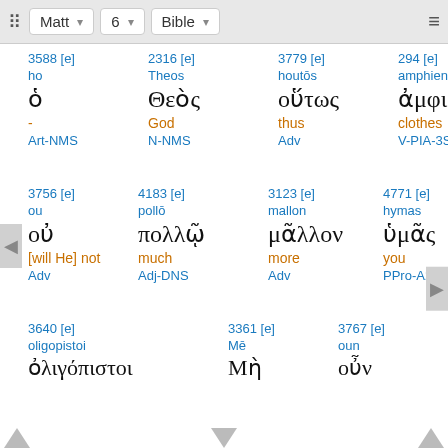Matt 6 Bible
| 3588 [e] | 2316 [e] | 3779 [e] | 294 [e] |
| --- | --- | --- | --- |
| ho | Theos | houtōs | amphiennysin |
| ὁ | Θεὸς | οὕτως | ἀμφιέννυσιν , |
| - | God | thus | clothes |
| Art-NMS | N-NMS | Adv | V-PIA-3S |
| 3756 [e] | 4183 [e] | 3123 [e] | 4771 [e] |
| --- | --- | --- | --- |
| ou | pollō | mallon | hymas |
| οὐ | πολλῷ | μᾶλλον | ὑμᾶς , |
| [will He] not | much | more | you |
| Adv | Adj-DNS | Adv | PPro-A2P |
| 3640 [e] |  | 3361 [e] | 3767 [e] |
| --- | --- | --- | --- |
| oligopistoi |  | Mē | oun |
| ὀλιγόπιστοι |  | Μὴ | οὖν |